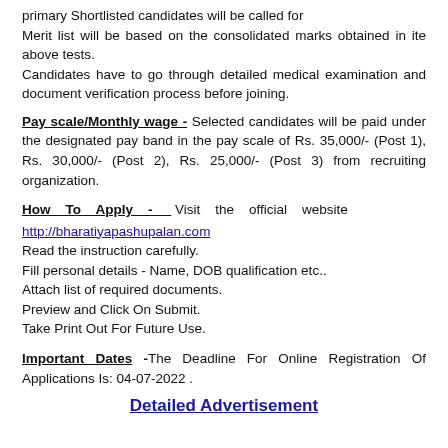primary Shortlisted candidates will be called for
Merit list will be based on the consolidated marks obtained in ite above tests.
Candidates have to go through detailed medical examination and document verification process before joining.
Pay scale/Monthly wage - Selected candidates will be paid under the designated pay band in the pay scale of Rs. 35,000/- (Post 1), Rs. 30,000/- (Post 2), Rs. 25,000/- (Post 3) from recruiting organization.
How To Apply - Visit the official website http://bharatiyapashupalan.com
Read the instruction carefully.
Fill personal details - Name, DOB qualification etc..
Attach list of required documents.
Preview and Click On Submit.
Take Print Out For Future Use.
Important Dates -The Deadline For Online Registration Of Applications Is: 04-07-2022 .
Detailed Advertisement